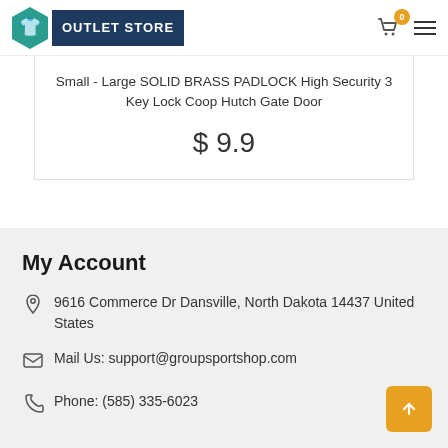Outlet Store
Small - Large SOLID BRASS PADLOCK High Security 3 Key Lock Coop Hutch Gate Door
$ 9.9
My Account
9616 Commerce Dr Dansville, North Dakota 14437 United States
Mail Us: support@groupsportshop.com
Phone: (585) 335-6023